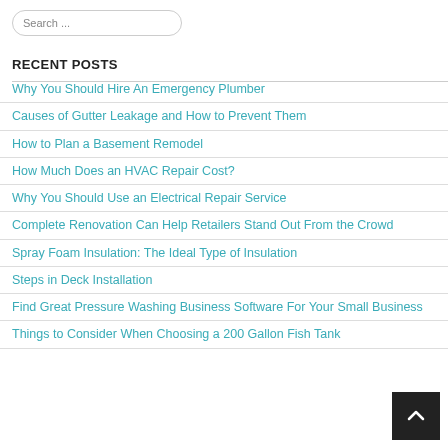Search ...
RECENT POSTS
Why You Should Hire An Emergency Plumber
Causes of Gutter Leakage and How to Prevent Them
How to Plan a Basement Remodel
How Much Does an HVAC Repair Cost?
Why You Should Use an Electrical Repair Service
Complete Renovation Can Help Retailers Stand Out From the Crowd
Spray Foam Insulation: The Ideal Type of Insulation
Steps in Deck Installation
Find Great Pressure Washing Business Software For Your Small Business
Things to Consider When Choosing a 200 Gallon Fish Tank